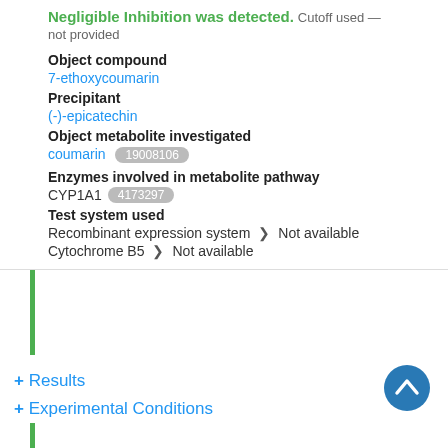Negligible Inhibition was detected.  Cutoff used — not provided
Object compound
7-ethoxycoumarin
Precipitant
(-)-epicatechin
Object metabolite investigated
coumarin  19008106
Enzymes involved in metabolite pathway
CYP1A1  4173297
Test system used
Recombinant expression system > Not available
Cytochrome B5 > Not available
+ Results
+ Experimental Conditions